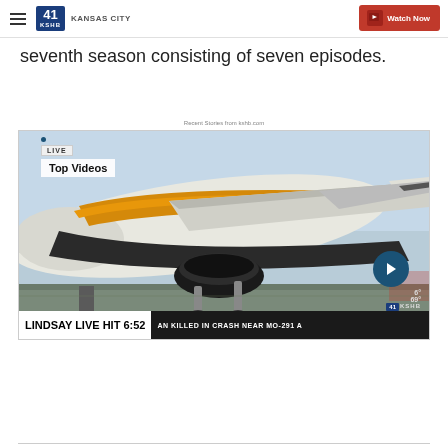41 KSHB KANSAS CITY | Watch Now
seventh season consisting of seven episodes.
Recent Stories from kshb.com
[Figure (screenshot): Video player thumbnail showing an airplane on a tarmac with 'LIVE' badge, 'Top Videos' label, ticker showing 'LINDSAY LIVE HIT 6:52' and 'AN KILLED IN CRASH NEAR MO-291 A', weather showing 69°, KSHB logo, and a forward arrow button]